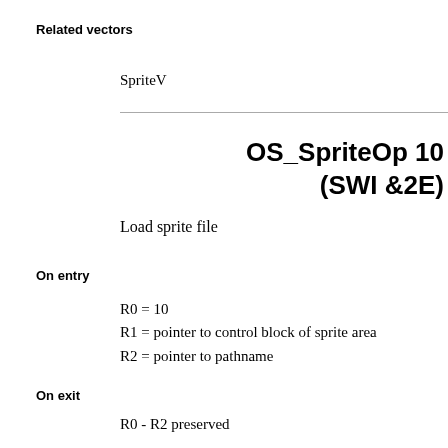Related vectors
SpriteV
OS_SpriteOp 10
(SWI &2E)
Load sprite file
On entry
R0 = 10
R1 = pointer to control block of sprite area
R2 = pointer to pathname
On exit
R0 - R2 preserved
Use